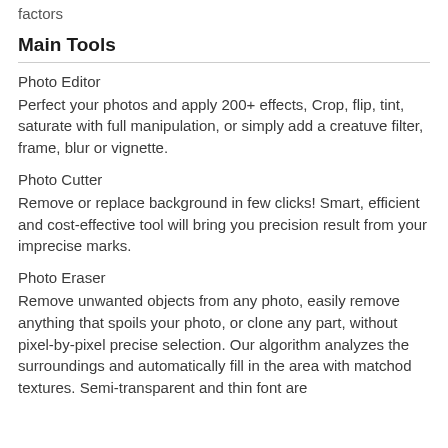factors
Main Tools
Photo Editor
Perfect your photos and apply 200+ effects, Crop, flip, tint, saturate with full manipulation, or simply add a creatuve filter, frame, blur or vignette.
Photo Cutter
Remove or replace background in few clicks! Smart, efficient and cost-effective tool will bring you precision result from your imprecise marks.
Photo Eraser
Remove unwanted objects from any photo, easily remove anything that spoils your photo, or clone any part, without pixel-by-pixel precise selection. Our algorithm analyzes the surroundings and automatically fill in the area with matchod textures. Semi-transparent and thin font are